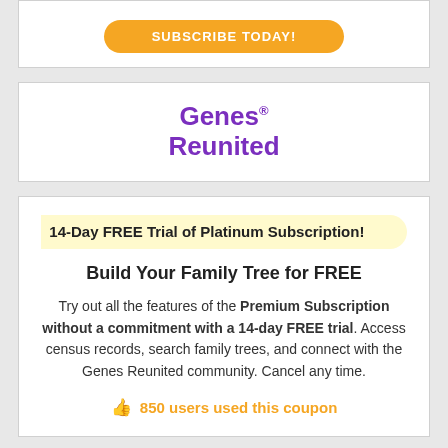[Figure (other): Orange rounded button with 'SUBSCRIBE TODAY!' text, partially visible at top of page]
[Figure (logo): Genes Reunited logo in purple bold text with registered trademark symbol]
14-Day FREE Trial of Platinum Subscription!
Build Your Family Tree for FREE
Try out all the features of the Premium Subscription without a commitment with a 14-day FREE trial. Access census records, search family trees, and connect with the Genes Reunited community. Cancel any time.
850 users used this coupon